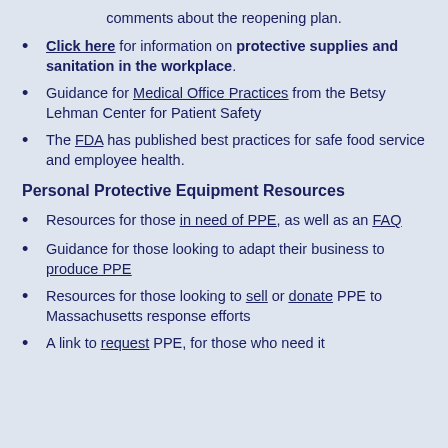comments about the reopening plan.
Click here for information on protective supplies and sanitation in the workplace.
Guidance for Medical Office Practices from the Betsy Lehman Center for Patient Safety
The FDA has published best practices for safe food service and employee health.
Personal Protective Equipment Resources
Resources for those in need of PPE, as well as an FAQ
Guidance for those looking to adapt their business to produce PPE
Resources for those looking to sell or donate PPE to Massachusetts response efforts
A link to request PPE, for those who need it